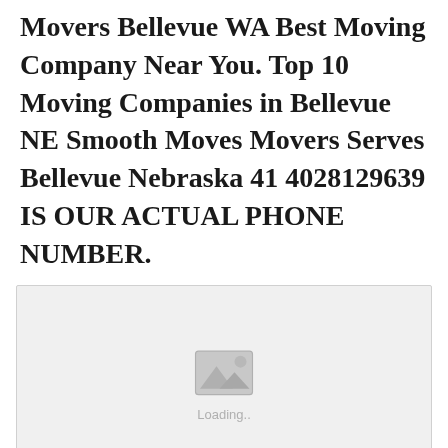Movers Bellevue WA Best Moving Company Near You. Top 10 Moving Companies in Bellevue NE Smooth Moves Movers Serves Bellevue Nebraska 41 4028129639 IS OUR ACTUAL PHONE NUMBER.
[Figure (other): Image placeholder with a grey background showing a camera/mountain icon and 'Loading..' text, with a red error circle icon at the bottom center indicating the image failed to load.]